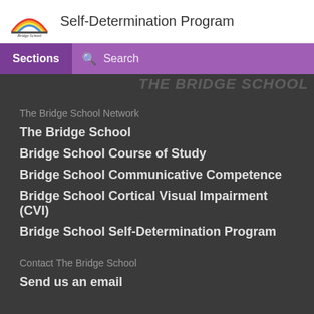Self-Determination Program
Sections | Search
THE BRIDGE SCHOOL
The Bridge School Network
The Bridge School
Bridge School Course of Study
Bridge School Communicative Competence
Bridge School Cortical Visual Impairment (CVI)
Bridge School Self-Determination Program
Contact The Bridge School
Send us an email